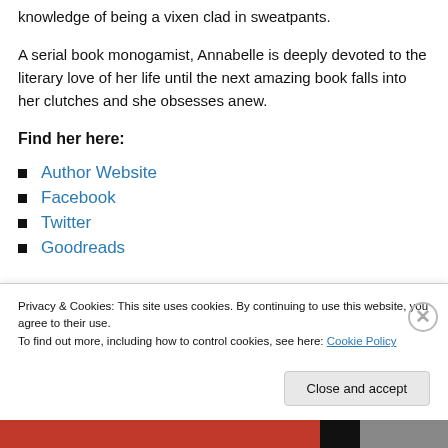knowledge of being a vixen clad in sweatpants.
A serial book monogamist, Annabelle is deeply devoted to the literary love of her life until the next amazing book falls into her clutches and she obsesses anew.
Find her here:
Author Website
Facebook
Twitter
Goodreads
Privacy & Cookies: This site uses cookies. By continuing to use this website, you agree to their use.
To find out more, including how to control cookies, see here: Cookie Policy